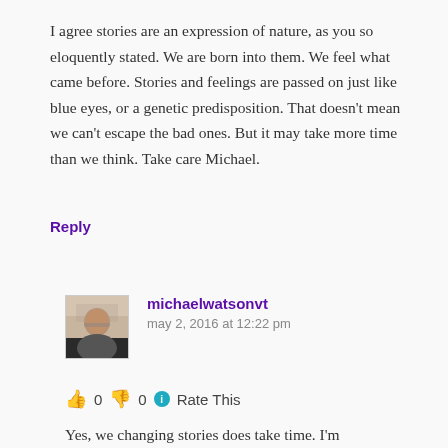I agree stories are an expression of nature, as you so eloquently stated. We are born into them. We feel what came before. Stories and feelings are passed on just like blue eyes, or a genetic predisposition. That doesn't mean we can't escape the bad ones. But it may take more time than we think. Take care Michael.
Reply
michaelwatsonvt
may 2, 2016 at 12:22 pm
👍 0 👎 0 ℹ Rate This
Yes, we changing stories does take time. I'm